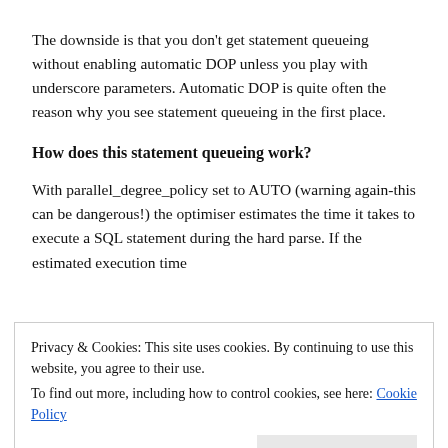The downside is that you don't get statement queueing without enabling automatic DOP unless you play with underscore parameters. Automatic DOP is quite often the reason why you see statement queueing in the first place.
How does this statement queueing work?
With parallel_degree_policy set to AUTO (warning again-this can be dangerous!) the optimiser estimates the time it takes to execute a SQL statement during the hard parse. If the estimated execution time
exceeds parallel_min_time_threshold (default is AUTO which is
Privacy & Cookies: This site uses cookies. By continuing to use this website, you agree to their use.
To find out more, including how to control cookies, see here: Cookie Policy
is limited by the number of CPUs in the system". Ooops-that